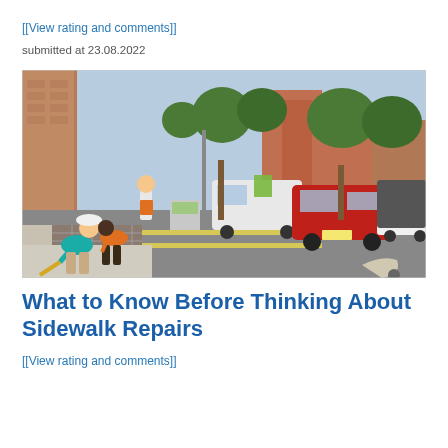[[View rating and comments]]
submitted at 23.08.2022
[Figure (photo): Workers repairing a sidewalk on an urban street. Two workers are bent over laying paving stones while a third uses a long-handled tool to smooth concrete. A red SUV and white van are parked on the street, with brick buildings and trees visible in the background.]
What to Know Before Thinking About Sidewalk Repairs
[[View rating and comments]]